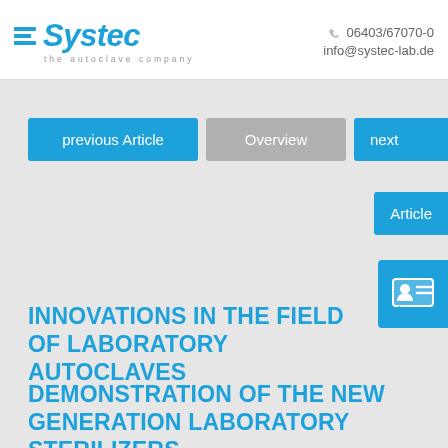Systec — the autoclave company | 06403/67070-0 | info@systec-lab.de
[Figure (screenshot): Navigation buttons: previous Article (blue), Overview (gray), next Article (blue, partially clipped)]
[Figure (screenshot): Contact card icon button (blue, partially clipped on right)]
INNOVATIONS IN THE FIELD OF LABORATORY AUTOCLAVES
DEMONSTRATION OF THE NEW GENERATION LABORATORY STERILIZERS.
[Figure (photo): Partially visible image strip at bottom of page]